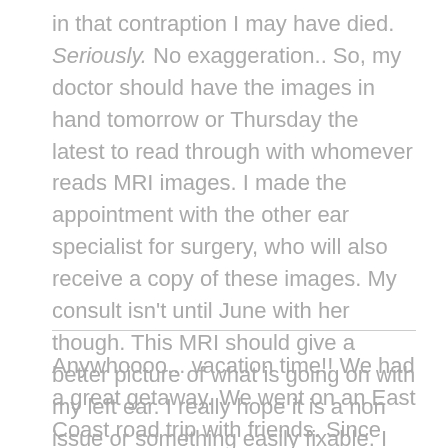in that contraption I may have died. Seriously. No exaggeration.. So, my doctor should have the images in hand tomorrow or Thursday the latest to read through with whomever reads MRI images. I made the appointment with the other ear specialist for surgery, who will also receive a copy of these images. My consult isn't until June with her though. This MRI should give a better picture of what is going on with my left ear. I really hope it is a non issue or something easily fixable. I keep praying that it will all work out no matter what is found. So. Please. Wish me luck! 🍀
Anywhoooo... vacation time!! We had a great getaway. We went on an East Coast road trip with friends. Since covid19 has shattered our normal routines of